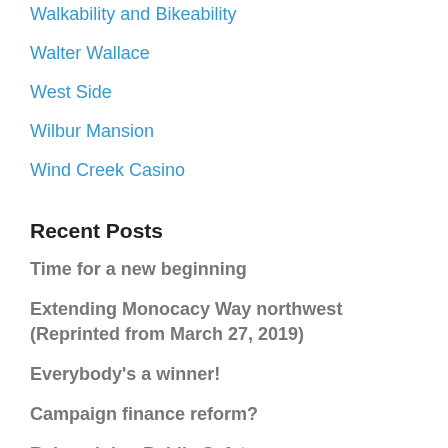Walkability and Bikeability
Walter Wallace
West Side
Wilbur Mansion
Wind Creek Casino
Recent Posts
Time for a new beginning
Extending Monocacy Way northwest (Reprinted from March 27, 2019)
Everybody's a winner!
Campaign finance reform?
Reimagining Public Safety